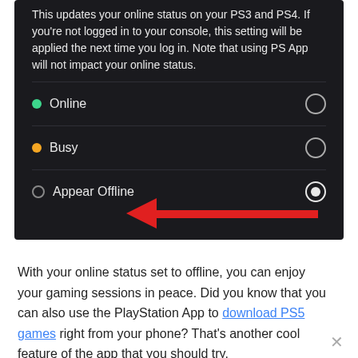[Figure (screenshot): PlayStation app screenshot showing online status settings with Online, Busy, and Appear Offline options. A red arrow points to 'Appear Offline' which is selected (radio button filled). Text at top reads: 'This updates your online status on your PS3 and PS4. If you're not logged in to your console, this setting will be applied the next time you log in. Note that using PS App will not impact your online status.']
With your online status set to offline, you can enjoy your gaming sessions in peace. Did you know that you can also use the PlayStation App to download PS5 games right from your phone? That's another cool feature of the app that you should try.